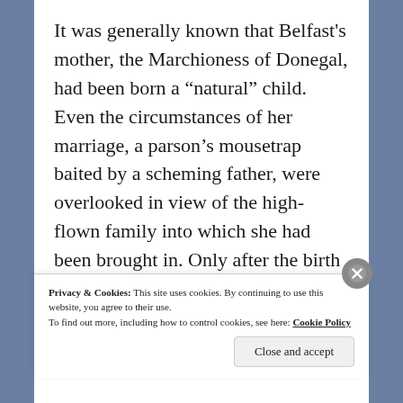It was generally known that Belfast's mother, the Marchioness of Donegal, had been born a “natural” child. Even the circumstances of her marriage, a parson’s mousetrap baited by a scheming father, were overlooked in view of the high-flown family into which she had been brought in. Only after the birth of
Privacy & Cookies: This site uses cookies. By continuing to use this website, you agree to their use.
To find out more, including how to control cookies, see here: Cookie Policy
Close and accept